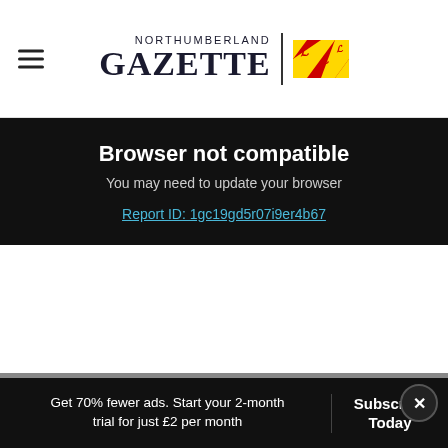Northumberland Gazette
Browser not compatible
You may need to update your browser
Report ID: 1gc19gd5r07i9er4b67
Get 70% fewer ads. Start your 2-month trial for just £2 per month
Subscribe Today